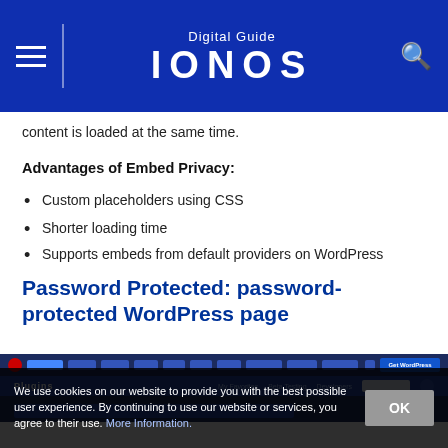Digital Guide IONOS
content is loaded at the same time.
Advantages of Embed Privacy:
Custom placeholders using CSS
Shorter loading time
Supports embeds from default providers on WordPress
Password Protected: password-protected WordPress page
[Figure (screenshot): WordPress Plugins page screenshot showing navigation bar with Plugins heading and a search box]
We use cookies on our website to provide you with the best possible user experience. By continuing to use our website or services, you agree to their use. More Information.